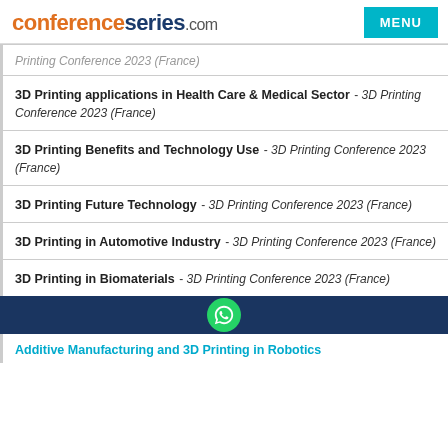conferenceseries.com MENU
3D Printing applications in Health Care & Medical Sector - 3D Printing Conference 2023 (France)
3D Printing Benefits and Technology Use - 3D Printing Conference 2023 (France)
3D Printing Future Technology - 3D Printing Conference 2023 (France)
3D Printing in Automotive Industry - 3D Printing Conference 2023 (France)
3D Printing in Biomaterials - 3D Printing Conference 2023 (France)
Additive Manufacturing and 3D Printing in Robotics